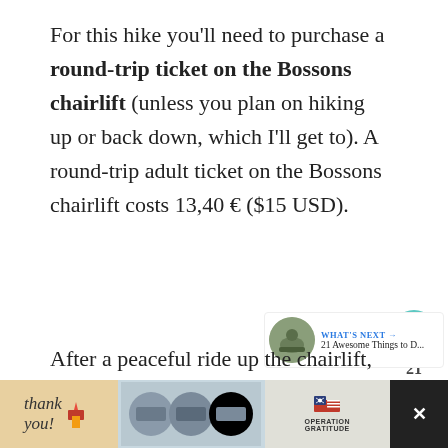For this hike you'll need to purchase a round-trip ticket on the Bossons chairlift (unless you plan on hiking up or back down, which I'll get to). A round-trip adult ticket on the Bossons chairlift costs 13,40 € ($15 USD).
After a peaceful ride up the chairlift,
[Figure (screenshot): Advertisement bar at the bottom with 'Thank you!' text and Operation Gratitude imagery]